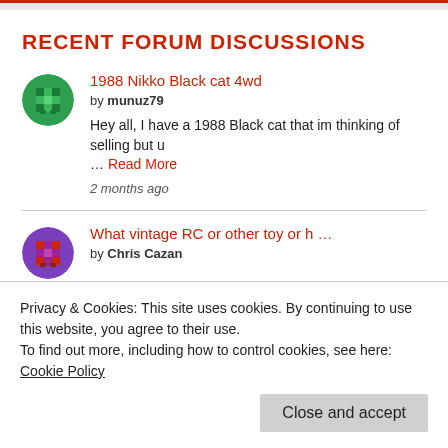RECENT FORUM DISCUSSIONS
1988 Nikko Black cat 4wd by munuz79 — Hey all, I have a 1988 Black cat that im thinking of selling but u ... Read More — 2 months ago
What vintage RC or other toy or h ... by Chris Cazan
Privacy & Cookies: This site uses cookies. By continuing to use this website, you agree to their use. To find out more, including how to control cookies, see here: Cookie Policy
Close and accept